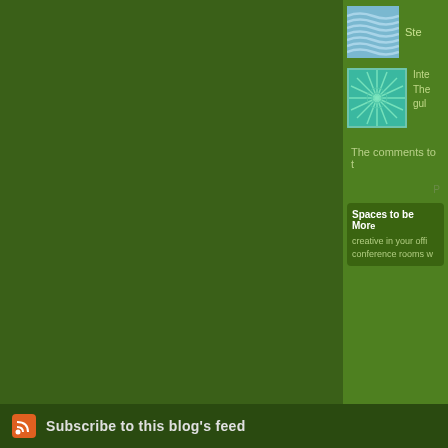[Figure (screenshot): Blog sidebar partial view on green background. Shows two thumbnail image items with partial text, a comments section, a powered-by row, and a Spaces to be More box with text about being creative in office conference rooms.]
Ste
[Figure (illustration): Square thumbnail with green starburst/spiral pattern on teal background]
Inte The gul
The comments to t
P
Spaces to be More
creative in your offi conference rooms w
Subscribe to this blog's feed